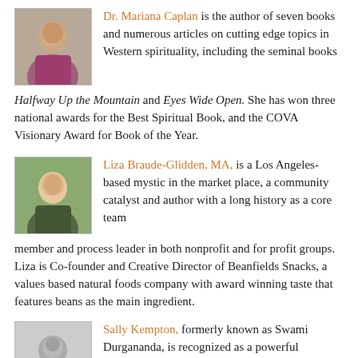Dr. Mariana Caplan is the author of seven books and numerous articles on cutting edge topics in Western spirituality, including the seminal books Halfway Up the Mountain and Eyes Wide Open. She has won three national awards for the Best Spiritual Book, and the COVA Visionary Award for Book of the Year.
[Figure (photo): Photo of Dr. Mariana Caplan, a woman with dark hair]
Liza Braude-Glidden, MA, is a Los Angeles-based mystic in the market place, a community catalyst and author with a long history as a core team member and process leader in both nonprofit and for profit groups. Liza is Co-founder and Creative Director of Beanfields Snacks, a values based natural foods company with award winning taste that features beans as the main ingredient.
[Figure (photo): Photo of Liza Braude-Glidden, a smiling woman outdoors]
Sally Kempton, formerly known as Swami Durgananda, is recognized as a powerful
[Figure (photo): Placeholder silhouette photo of Sally Kempton]